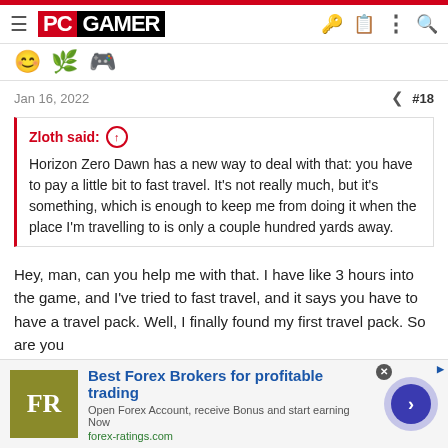PC GAMER
Jan 16, 2022  #18
Zloth said: ↑

Horizon Zero Dawn has a new way to deal with that: you have to pay a little bit to fast travel. It's not really much, but it's something, which is enough to keep me from doing it when the place I'm travelling to is only a couple hundred yards away.
Hey, man, can you help me with that. I have like 3 hours into the game, and I've tried to fast travel, and it says you have to have a travel pack. Well, I finally found my first travel pack. So are you
Best Forex Brokers for profitable trading
Open Forex Account, receive Bonus and start earning Now
forex-ratings.com